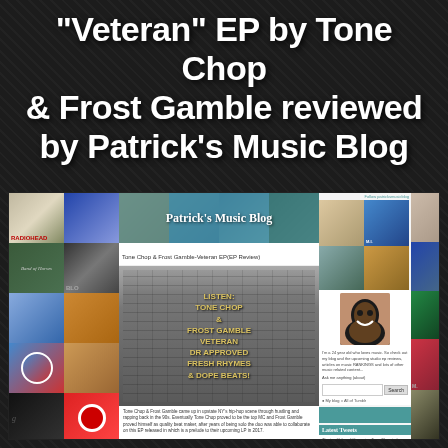“Veteran” EP by Tone Chop & Frost Gamble reviewed by Patrick’s Music Blog
[Figure (screenshot): Screenshot of Patrick's Music Blog showing a review of the 'Veteran' EP by Tone Chop & Frost Gamble, surrounded by album art collage. The blog shows the EP cover art featuring a brick building with text 'LISTEN: TONE CHOP & FROST GAMBLE VETERAN DR APPROVED FRESH RHYMES & DOPE BEATS', a sidebar with a profile photo of a smiling black man, a search box, and Latest Tweets section.]